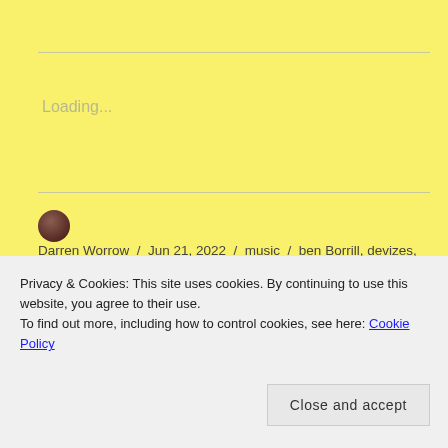Loading...
Darren Worrow / Jun 21, 2022 / music / ben Borrill, devizes, Jamie R Hawkins, live music, rockhoppaz, Roughcut Rebels, Sue Harding, Vince Bell, wadfest, Wadworth, wiltshire / Leave a comment
Privacy & Cookies: This site uses cookies. By continuing to use this website, you agree to their use.
To find out more, including how to control cookies, see here: Cookie Policy